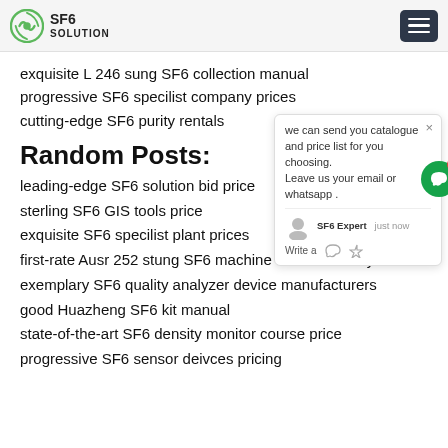SF6 SOLUTION
exquisite L 246 sung SF6 collection manual
progressive SF6 specilist company prices
cutting-edge SF6 purity rentals
Random Posts:
leading-edge SF6 solution bid price
sterling SF6 GIS tools price
exquisite SF6 specilist plant prices
first-rate Ausr 252 stung SF6 machine manual factory
exemplary SF6 quality analyzer device manufacturers
good Huazheng SF6 kit manual
state-of-the-art SF6 density monitor course price
progressive SF6 sensor deivces pricing